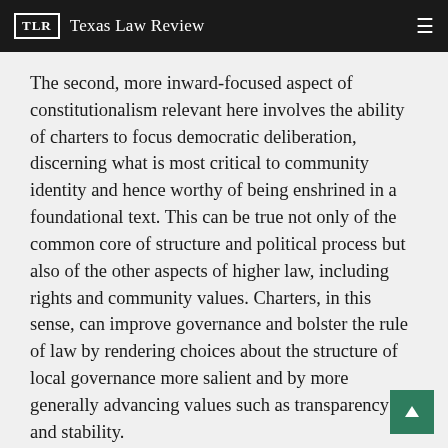TLR Texas Law Review
The second, more inward-focused aspect of constitutionalism relevant here involves the ability of charters to focus democratic deliberation, discerning what is most critical to community identity and hence worthy of being enshrined in a foundational text. This can be true not only of the common core of structure and political process but also of the other aspects of higher law, including rights and community values. Charters, in this sense, can improve governance and bolster the rule of law by rendering choices about the structure of local governance more salient and by more generally advancing values such as transparency and stability.
These are admittedly quite aspirational goals for municipal charters, and one must be quite careful of overly investing in the constitutional potential of these often-humble documents. These goals must also be read against a backdrop of concern about the valence of empowering local governments, with their tendency